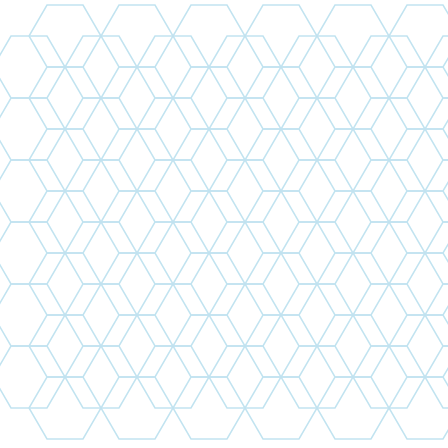[Figure (illustration): Hexagonal pattern background with light blue outlines on white. Two small green icons (a leaf and a bottle) are scattered among the hexagons. The pattern fills the left 60% of the page.]
Maximum Green Complete
47,00 лв.
ДОБАВИ
[Figure (photo): Dark blue cylindrical supplement jar labeled MELATONIN with silver cap and band, against white background.]
Melatonin
9,00 лв.  8,00 лв.
ДОБАВИ